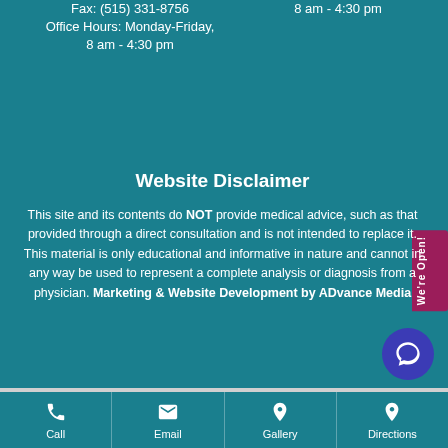Fax: (515) 331-8756
Office Hours: Monday-Friday,
8 am - 4:30 pm
8 am - 4:30 pm
Website Disclaimer
This site and its contents do NOT provide medical advice, such as that provided through a direct consultation and is not intended to replace it. This material is only educational and informative in nature and cannot in any way be used to represent a complete analysis or diagnosis from a physician. Marketing & Website Development by ADvance Media
Call | Email | Gallery | Directions